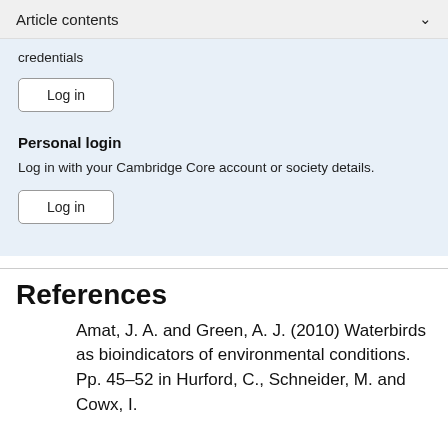Article contents
credentials
Log in
Personal login
Log in with your Cambridge Core account or society details.
Log in
References
Amat, J. A. and Green, A. J. (2010) Waterbirds as bioindicators of environmental conditions. Pp. 45–52 in Hurford, C., Schneider, M. and Cowx, I.